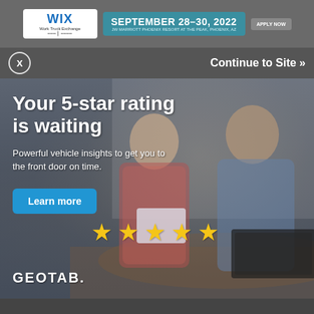[Figure (screenshot): Top banner ad for Work Truck Exchange event: September 28-30, 2022 at JW Marriott Phoenix Resort at The Peak, Phoenix, AZ. Features WIX logo and Apply Now button.]
X
Continue to Site »
[Figure (photo): Background photo of a woman in a plaid shirt smiling while reviewing a tablet, and a man in work overalls looking at the contents of a toolbox on a table, in a home/office setting.]
Your 5-star rating is waiting
Powerful vehicle insights to get you to the front door on time.
Learn more
[Figure (illustration): Five yellow star rating icons displayed in a row]
GEOTAB.